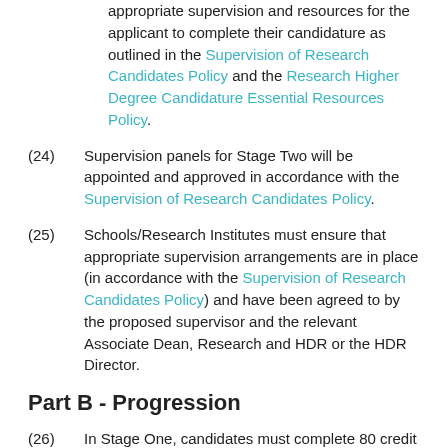appropriate supervision and resources for the applicant to complete their candidature as outlined in the Supervision of Research Candidates Policy and the Research Higher Degree Candidature Essential Resources Policy.
(24) Supervision panels for Stage Two will be appointed and approved in accordance with the Supervision of Research Candidates Policy.
(25) Schools/Research Institutes must ensure that appropriate supervision arrangements are in place (in accordance with the Supervision of Research Candidates Policy) and have been agreed to by the proposed supervisor and the relevant Associate Dean, Research and HDR or the HDR Director.
Part B - Progression
(26) In Stage One, candidates must complete 80 credit points at AQF level 7 or above. Refer to the Curriculum Structure Procedures for information on